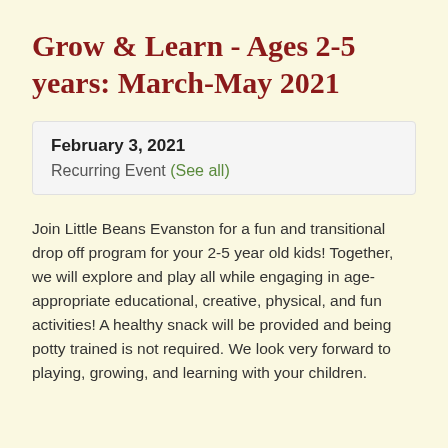Grow & Learn - Ages 2-5 years: March-May 2021
February 3, 2021
Recurring Event (See all)
Join Little Beans Evanston for a fun and transitional drop off program for your 2-5 year old kids! Together, we will explore and play all while engaging in age-appropriate educational, creative, physical, and fun activities! A healthy snack will be provided and being potty trained is not required. We look very forward to playing, growing, and learning with your children.